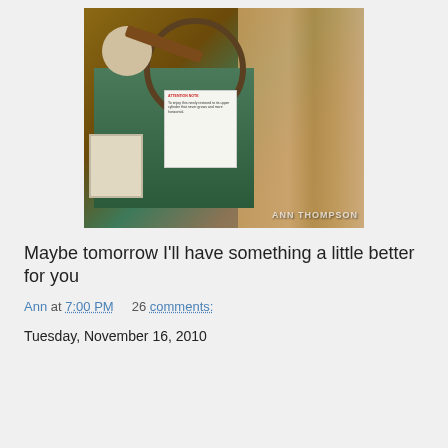[Figure (photo): Photograph of an old vintage grinding or sharpening machine with a large wheel, rust-colored metal parts, wooden surroundings, a white explanatory sign attached to the machine, and a watermark reading ANN THOMPSON in the bottom right corner.]
Maybe tomorrow I'll have something a little better for you
Ann at 7:00 PM    26 comments:
Tuesday, November 16, 2010